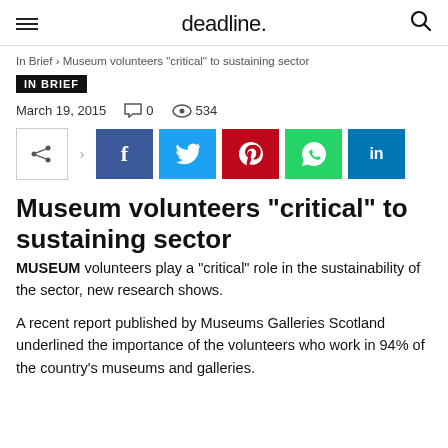deadline.
In Brief › Museum volunteers "critical" to sustaining sector
IN BRIEF
March 19, 2015   💬 0   👁 534
[Figure (infographic): Social sharing buttons: share icon, Facebook, Twitter, Pinterest, WhatsApp, LinkedIn]
Museum volunteers “critical” to sustaining sector
MUSEUM volunteers play a “critical” role in the sustainability of the sector, new research shows.
A recent report published by Museums Galleries Scotland underlined the importance of the volunteers who work in 94% of the country’s museums and galleries.